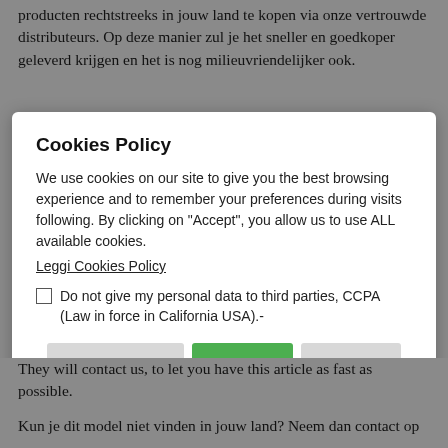producten rechtstreeks in jouw land te kopen via onze vertrouwde distributeurs. Op deze manier zul je het sneller en goedkoper geleverd krijgen en het is nog milieuvriendelijker ook.
Cookies Policy
We use cookies on our site to give you the best browsing experience and to remember your preferences during visits following. By clicking on "Accept", you allow us to use ALL available cookies. Leggi Cookies Policy
Do not give my personal data to third parties, CCPA (Law in force in California USA).-
Select Cookies
Accept all
Decline
They will contact us, to let you have this article as fast as possible.
Kun je dit model niet vinden in jouw land? Neem dan contact op